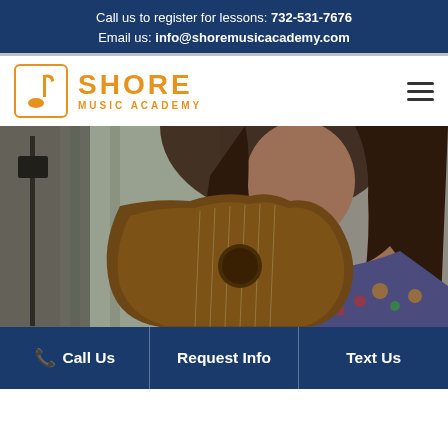Call us to register for lessons: 732-531-7676
Email us: info@shoremusicacademy.com
[Figure (logo): Shore Music Academy logo with music note icon and orange text]
[Figure (photo): Young girl playing acoustic guitar, close-up, looking at sheet music]
Call Us | Request Info | Text Us